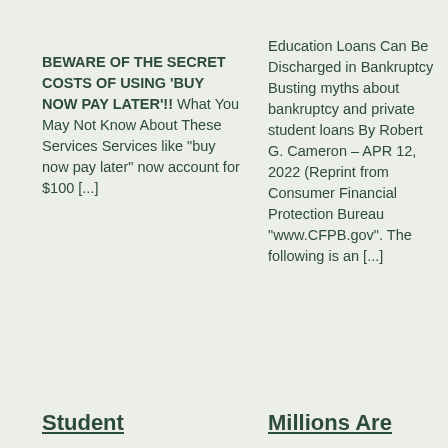BEWARE OF THE SECRET COSTS OF USING 'BUY NOW PAY LATER'!! What You May Not Know About These Services Services like "buy now pay later" now account for $100 [...]
Education Loans Can Be Discharged in Bankruptcy Busting myths about bankruptcy and private student loans By Robert G. Cameron – APR 12, 2022 (Reprint from Consumer Financial Protection Bureau "www.CFPB.gov".  The following is an [...]
Student
Millions Are